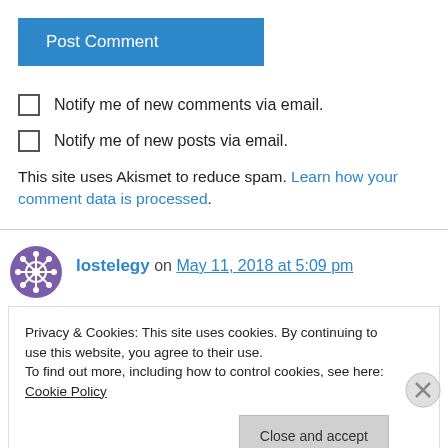Post Comment
Notify me of new comments via email.
Notify me of new posts via email.
This site uses Akismet to reduce spam. Learn how your comment data is processed.
lostelegy on May 11, 2018 at 5:09 pm
Privacy & Cookies: This site uses cookies. By continuing to use this website, you agree to their use.
To find out more, including how to control cookies, see here: Cookie Policy
Close and accept